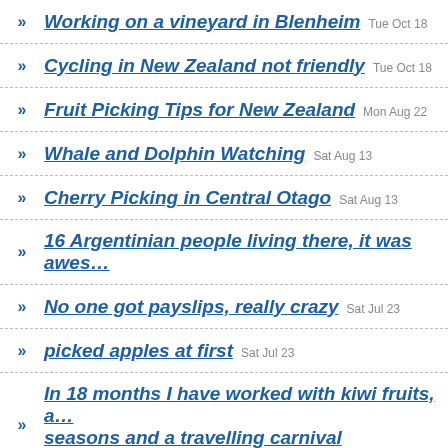Working on a vineyard in Blenheim Tue Oct 18
Cycling in New Zealand not friendly Tue Oct 18
Fruit Picking Tips for New Zealand Mon Aug 22
Whale and Dolphin Watching Sat Aug 13
Cherry Picking in Central Otago Sat Aug 13
16 Argentinian people living there, it was awes…
No one got payslips, really crazy Sat Jul 23
picked apples at first Sat Jul 23
In 18 months I have worked with kiwi fruits, a… seasons and a travelling carnival Sat Jul 23